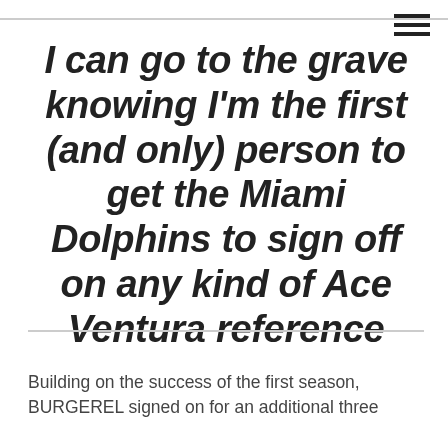I can go to the grave knowing I'm the first (and only) person to get the Miami Dolphins to sign off on any kind of Ace Ventura reference
Building on the success of the first season, BURGEREL signed on for an additional three